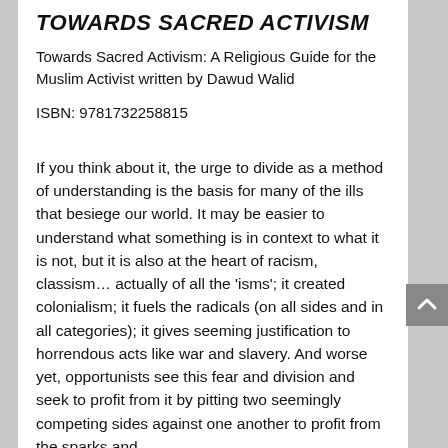TOWARDS SACRED ACTIVISM
Towards Sacred Activism: A Religious Guide for the Muslim Activist written by Dawud Walid
ISBN: 9781732258815
If you think about it, the urge to divide as a method of understanding is the basis for many of the ills that besiege our world. It may be easier to understand what something is in context to what it is not, but it is also at the heart of racism, classism… actually of all the 'isms'; it created colonialism; it fuels the radicals (on all sides and in all categories); it gives seeming justification to horrendous acts like war and slavery. And worse yet, opportunists see this fear and division and seek to profit from it by pitting two seemingly competing sides against one another to profit from the sparks and